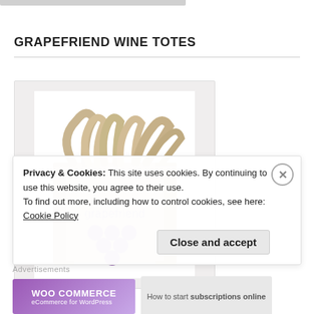GRAPEFRIEND WINE TOTES
[Figure (photo): A tan/beige canvas tote bag with multiple handles bunched at the top, printed with 'grapefriend' text and purple grape bunch logo circles on the front, displayed on white background.]
Privacy & Cookies: This site uses cookies. By continuing to use this website, you agree to their use.
To find out more, including how to control cookies, see here: Cookie Policy
Close and accept
Advertisements
WOO COMMERCE
How to start subscriptions online